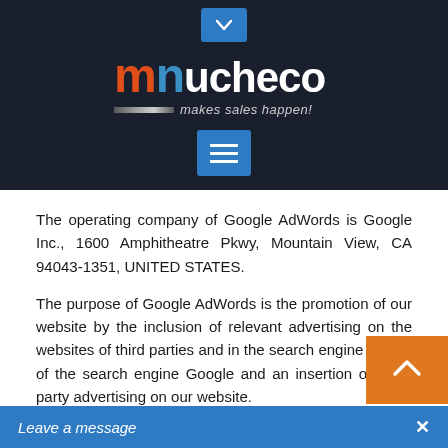[Figure (logo): Mucheco logo on dark background with tagline 'makes sales happen!' and navigation buttons (chevron and hamburger menu)]
The operating company of Google AdWords is Google Inc., 1600 Amphitheatre Pkwy, Mountain View, CA 94043-1351, UNITED STATES.
The purpose of Google AdWords is the promotion of our website by the inclusion of relevant advertising on the websites of third parties and in the search engine results of the search engine Google and an insertion of third-party advertising on our website.